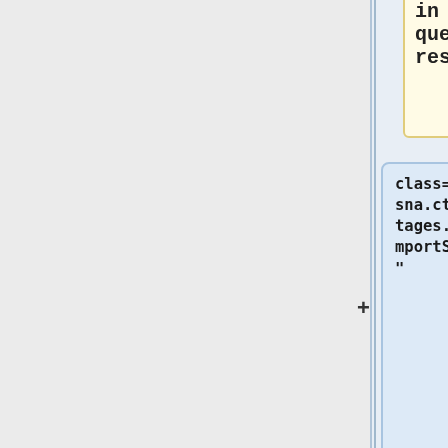in a list of query results.
class="org.rsna.ctp.stdstages.DicomImportService"
logConnections="rejected"
name="DICOM Service DicomImportService"